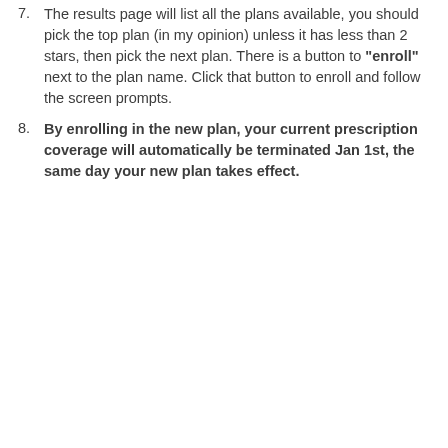7. The results page will list all the plans available, you should pick the top plan (in my opinion) unless it has less than 2 stars, then pick the next plan. There is a button to "enroll" next to the plan name. Click that button to enroll and follow the screen prompts.
8. By enrolling in the new plan, your current prescription coverage will automatically be terminated Jan 1st, the same day your new plan takes effect.